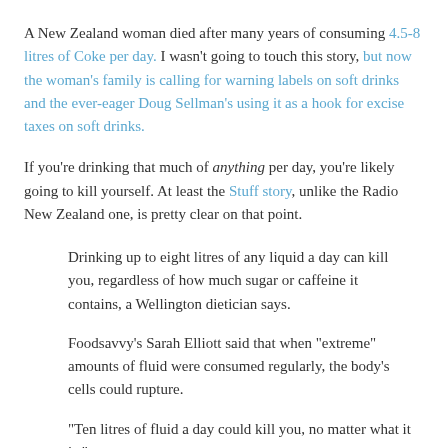A New Zealand woman died after many years of consuming 4.5-8 litres of Coke per day. I wasn't going to touch this story, but now the woman's family is calling for warning labels on soft drinks and the ever-eager Doug Sellman's using it as a hook for excise taxes on soft drinks.
If you're drinking that much of anything per day, you're likely going to kill yourself. At least the Stuff story, unlike the Radio New Zealand one, is pretty clear on that point.
Drinking up to eight litres of any liquid a day can kill you, regardless of how much sugar or caffeine it contains, a Wellington dietician says.
Foodsavvy's Sarah Elliott said that when "extreme" amounts of fluid were consumed regularly, the body's cells could rupture.
"Ten litres of fluid a day could kill you, no matter what it is."